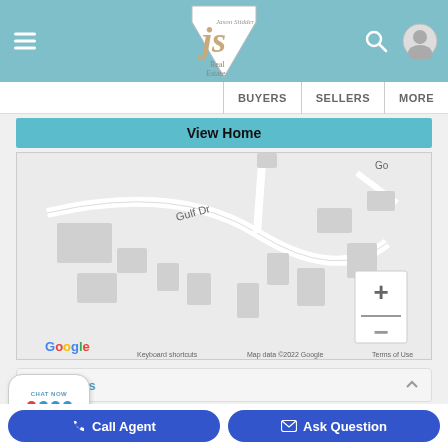JS Real Estate website header with hamburger menu, logo, search and profile icons, navigation: BUYERS | SELLERS | MORE
View Home
[Figure (map): Google Maps view showing Gulf Dr street with building footprints and zoom controls. Map data ©2022 Google. Labels: Gulf Dr, Keyboard shortcuts, Map data ©2022 Google, Terms of Use]
ty Address
Address: 2124 Gulf
Call Agent | Ask Question